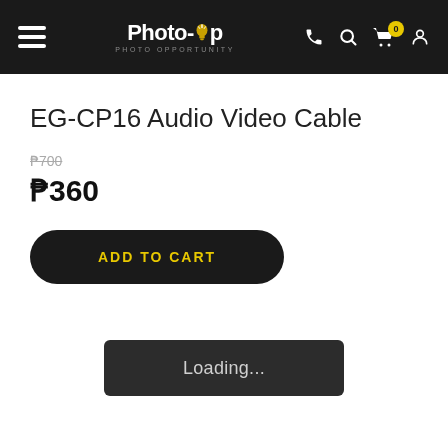[Figure (screenshot): Photo-Op website header with hamburger menu, logo, phone icon, search icon, cart with badge showing 0, and user icon on dark background]
EG-CP16 Audio Video Cable
₱700 (strikethrough original price)
₱360
ADD TO CART
Loading...